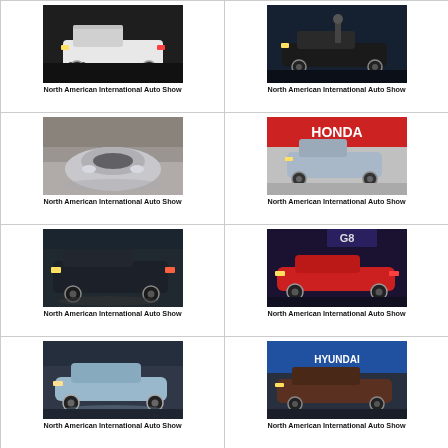[Figure (photo): White pickup truck on display at auto show, dark background]
North American International Auto Show
[Figure (photo): Person standing next to dark sedan on stage at auto show]
North American International Auto Show
[Figure (photo): Silver concept car seen from front/top angle, crowd in background]
North American International Auto Show
[Figure (photo): Honda concept car on display with Honda signage in background]
North American International Auto Show
[Figure (photo): Dark SUV on rotating display platform at auto show]
North American International Auto Show
[Figure (photo): Red sports car on display with G8 signage in background]
North American International Auto Show
[Figure (photo): Light blue coupe on display platform at crowded auto show]
North American International Auto Show
[Figure (photo): Dark brown sedan on display with Hyundai branding in background]
North American International Auto Show